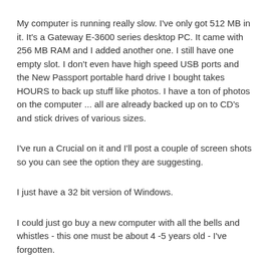My computer is running really slow. I've only got 512 MB in it. It's a Gateway E-3600 series desktop PC. It came with 256 MB RAM and I added another one. I still have one empty slot. I don't even have high speed USB ports and the New Passport portable hard drive I bought takes HOURS to back up stuff like photos. I have a ton of photos on the computer ... all are already backed up on to CD's and stick drives of various sizes.
I've run a Crucial on it and I'll post a couple of screen shots so you can see the option they are suggesting.
I just have a 32 bit version of Windows.
I could just go buy a new computer with all the bells and whistles - this one must be about 4 -5 years old - I've forgotten.